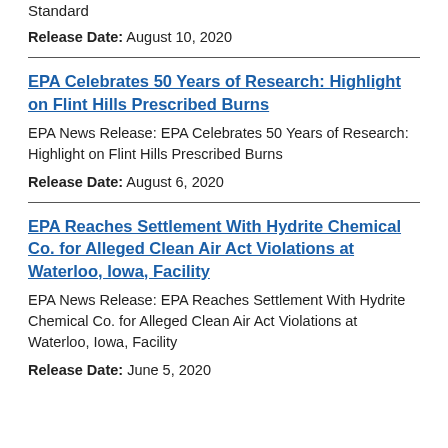Standard
Release Date: August 10, 2020
EPA Celebrates 50 Years of Research: Highlight on Flint Hills Prescribed Burns
EPA News Release: EPA Celebrates 50 Years of Research: Highlight on Flint Hills Prescribed Burns
Release Date: August 6, 2020
EPA Reaches Settlement With Hydrite Chemical Co. for Alleged Clean Air Act Violations at Waterloo, Iowa, Facility
EPA News Release: EPA Reaches Settlement With Hydrite Chemical Co. for Alleged Clean Air Act Violations at Waterloo, Iowa, Facility
Release Date: June 5, 2020